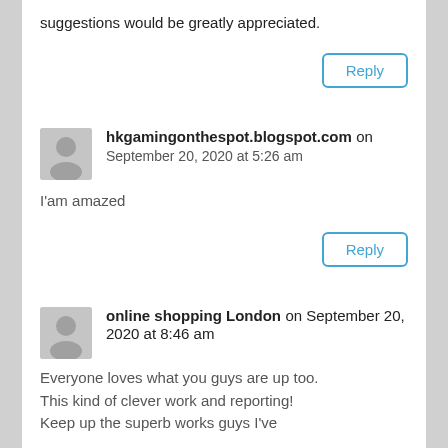suggestions would be greatly appreciated.
Reply
hkgamingonthespot.blogspot.com on
September 20, 2020 at 5:26 am
I'am amazed
Reply
online shopping London on September 20, 2020 at 8:46 am
Everyone loves what you guys are up too. This kind of clever work and reporting! Keep up the superb works guys I've